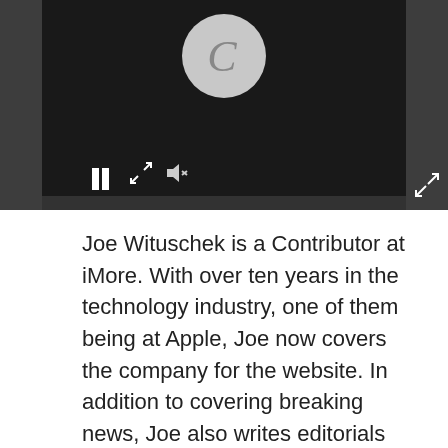[Figure (screenshot): Video player screenshot showing a dark player interface with a circular play/reload button, pause button, and media controls on a dark background.]
Joe Wituschek is a Contributor at iMore. With over ten years in the technology industry, one of them being at Apple, Joe now covers the company for the website. In addition to covering breaking news, Joe also writes editorials and reviews for a range of products. He fell in love with Apple products when he got an iPod nano for Christmas almost twenty years ago. Despite being considered a "heavy" user, he has always preferred the consumer-focused products like the MacBook Air, iPad mini, and iPhone 13 mini.